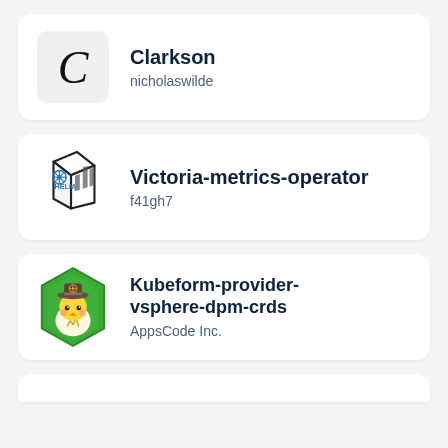[Figure (logo): Clarkson app icon: white/grey background with italic cursive letter C]
Clarkson
nicholaswilde
[Figure (logo): Helm chart logo: 3D cube with HELM text and ship wheel icon, with vertical bar chart bars on the right face]
Victoria-metrics-operator
f41gh7
[Figure (logo): Kubeform provider logo: cute chick with brown hat inside a green hexagon badge]
Kubeform-provider-vsphere-dpm-crds
AppsCode Inc.